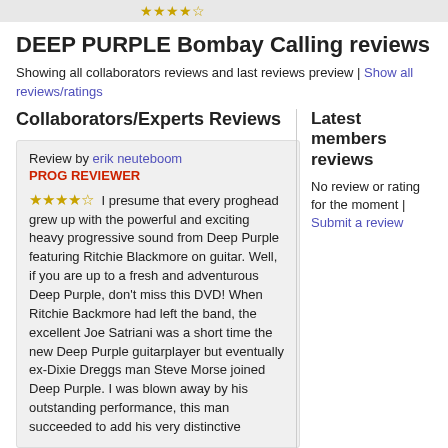★★★★☆
DEEP PURPLE Bombay Calling reviews
Showing all collaborators reviews and last reviews preview | Show all reviews/ratings
Collaborators/Experts Reviews
Review by erik neuteboom
PROG REVIEWER
★★★★☆ I presume that every proghead grew up with the powerful and exciting heavy progressive sound from Deep Purple featuring Ritchie Blackmore on guitar. Well, if you are up to a fresh and adventurous Deep Purple, don't miss this DVD! When Ritchie Backmore had left the band, the excellent Joe Satriani was a short time the new Deep Purple guitarplayer but eventually ex-Dixie Dreggs man Steve Morse joined Deep Purple. I was blown away by his outstanding performance, this man succeeded to add his very distinctive
Latest members reviews
No review or rating for the moment | Submit a review